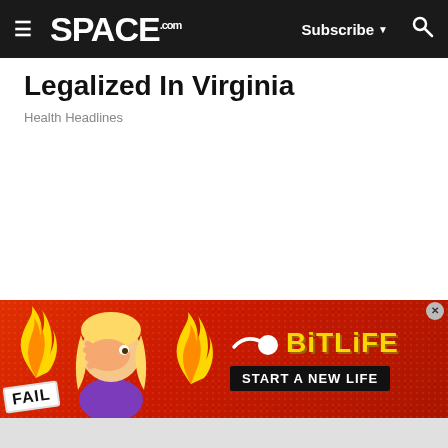SPACE.com — Subscribe — Search
Legalized In Virginia
Health Headlines
[Figure (illustration): Advertisement banner for BitLife mobile game. Red textured background with flames, a cartoon blonde character covering her face in embarrassment, a FAIL badge, a sperm icon, BitLife logo in yellow, and 'START A NEW LIFE' call-to-action button in black.]